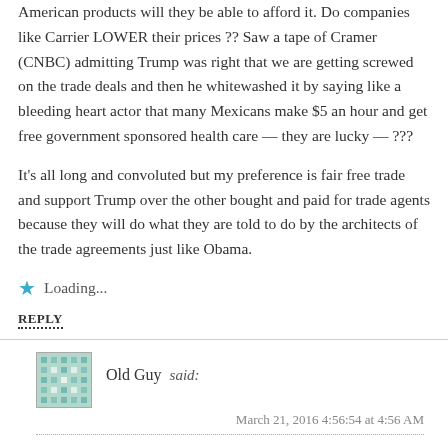American products will they be able to afford it. Do companies like Carrier LOWER their prices ?? Saw a tape of Cramer (CNBC) admitting Trump was right that we are getting screwed on the trade deals and then he whitewashed it by saying like a bleeding heart actor that many Mexicans make $5 an hour and get free government sponsored health care — they are lucky — ???
It's all long and convoluted but my preference is fair free trade and support Trump over the other bought and paid for trade agents because they will do what they are told to do by the architects of the trade agreements just like Obama.
Loading...
REPLY
Old Guy said:
March 21, 2016 4:56:54 at 4:56 AM
Frat I can remember when Palos Verdes was like living in the country, with the exception of Marineland. Now closed of course. I also lived in